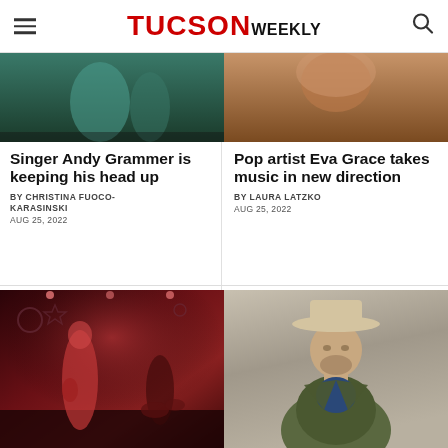TUCSON WEEKLY
[Figure (photo): Top strip: two cropped photos side by side — left shows a teal/green background performer, right shows a woman with reddish-brown hair]
Singer Andy Grammer is keeping his head up
BY CHRISTINA FUOCO-KARASINSKI
AUG 25, 2022
Pop artist Eva Grace takes music in new direction
BY LAURA LATZKO
AUG 25, 2022
[Figure (photo): Left: female guitarist performing on stage in red outfit with decorative moon/star backdrop in dark red lighting]
[Figure (photo): Right: man with beard wearing wide-brim tan hat and olive green jacket, portrait style on neutral background]